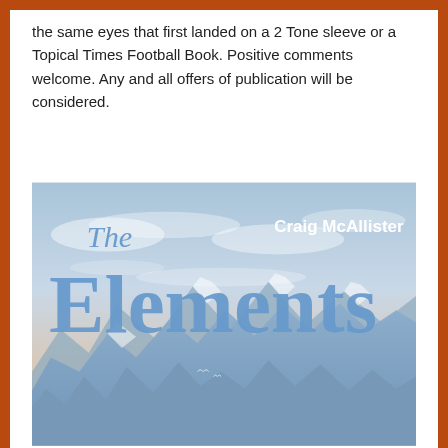the same eyes that first landed on a 2 Tone sleeve or a Topical Times Football Book. Positive comments welcome. Any and all offers of publication will be considered.
[Figure (illustration): Book cover for 'The Elements' by Craig McAllister. Features large blue serif text 'The Elements' over a sky and mountain landscape with blue-tinted rocky peaks and clouds.]